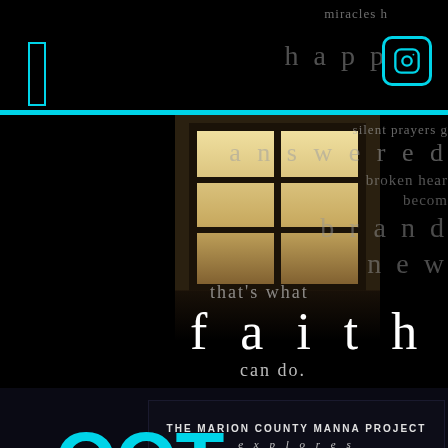[Figure (screenshot): Social media post screenshot showing a dark room with window letting in light, overlaid with inspirational text about faith]
miracles h
happ
silent prayers g
answered
broken hear
becom
brand
new
that's what
faith
can do.
THE MARION COUNTY MANNA PROJECT
explores
OOT